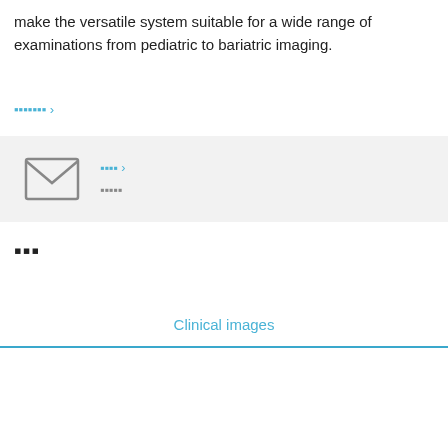make the versatile system suitable for a wide range of examinations from pediatric to bariatric imaging.
▪▪▪▪▪▪▪ ›
▪▪▪▪ › (link) / ▪▪▪▪▪ (subtext)
▪▪▪
Clinical images